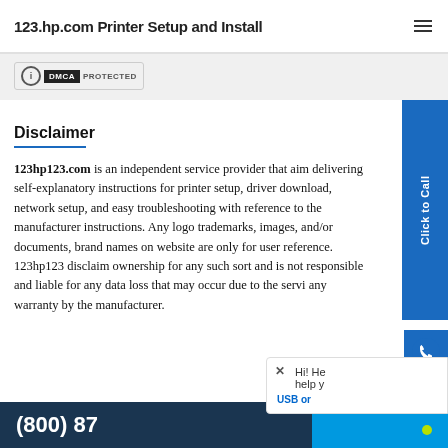123.hp.com Printer Setup and Install
[Figure (screenshot): DMCA Protected badge]
Disclaimer
123hp123.com is an independent service provider that aims delivering self-explanatory instructions for printer setup, driver download, network setup, and easy troubleshooting with reference to the manufacturer instructions. Any logos, trademarks, images, and/or documents, brand names on website are only for user reference. 123hp123 disclaims ownership for any sort and is not responsible and liable for any data loss that may occur due to the service any warranty by the manufacturer.
[Figure (screenshot): Click to Call sidebar button]
[Figure (screenshot): Phone number bar: (800) 87...]
[Figure (screenshot): Live Help is Online chat bar with close button and USB text]